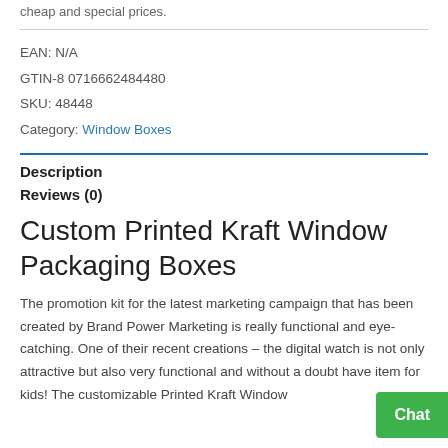cheap and special prices.
EAN: N/A
GTIN-8 0716662484480
SKU: 48448
Category: Window Boxes
Description
Reviews (0)
Custom Printed Kraft Window Packaging Boxes
The promotion kit for the latest marketing campaign that has been created by Brand Power Marketing is really functional and eye-catching. One of their recent creations – the digital watch is not only attractive but also very functional and without a doubt have item for kids! The customizable Printed Kraft Window